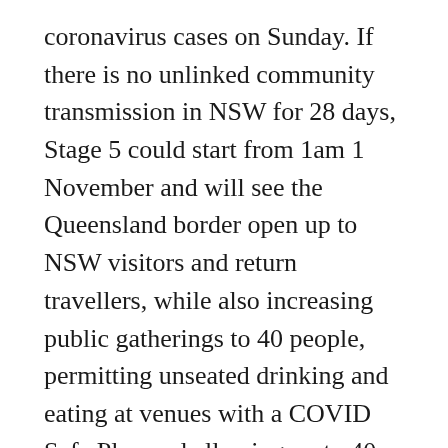coronavirus cases on Sunday. If there is no unlinked community transmission in NSW for 28 days, Stage 5 could start from 1am 1 November and will see the Queensland border open up to NSW visitors and return travellers, while also increasing public gatherings to 40 people, permitting unseated drinking and eating at venues with a COVID Safe Plan and allowing up to 40 people to dance at a wedding with a COVID Safe Plan. The city issued 1 person per 4 square metres rule as it limited gatherings at religious and hospitality venues to a maximum of 300 people. Aged care residents can go on outings again from 4pm today. The latest news from around the